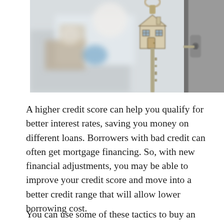[Figure (photo): A close-up photo of a key with a house-shaped keychain inserted into a door lock, with a blurred interior background.]
A higher credit score can help you qualify for better interest rates, saving you money on different loans. Borrowers with bad credit can often get mortgage financing. So, with new financial adjustments, you may be able to improve your credit score and move into a better credit range that will allow lower borrowing cost.
You can use some of these tactics to buy an